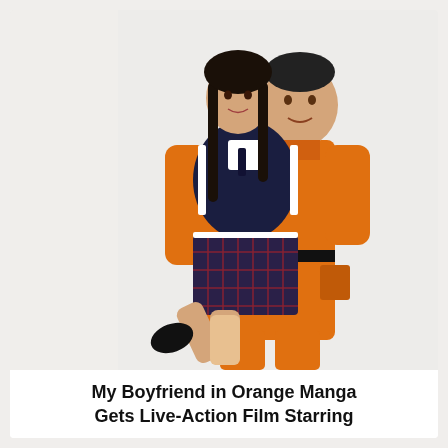[Figure (photo): Promotional photo of two people embracing. A young woman in a dark school uniform blazer with white trim and a plaid skirt is being hugged from behind by a man wearing a bright orange jumpsuit/coverall. The woman has long hair and is lifting one leg. The background is plain white/light grey.]
My Boyfriend in Orange Manga Gets Live-Action Film Starring